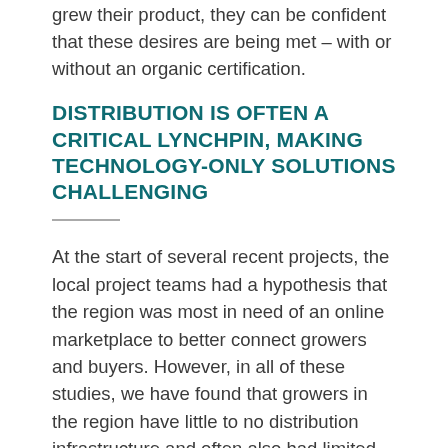grew their product, they can be confident that these desires are being met – with or without an organic certification.
DISTRIBUTION IS OFTEN A CRITICAL LYNCHPIN, MAKING TECHNOLOGY-ONLY SOLUTIONS CHALLENGING
At the start of several recent projects, the local project teams had a hypothesis that the region was most in need of an online marketplace to better connect growers and buyers. However, in all of these studies, we have found that growers in the region have little to no distribution infrastructure and often also had limited cooling and cold storage capacity. These major limitations